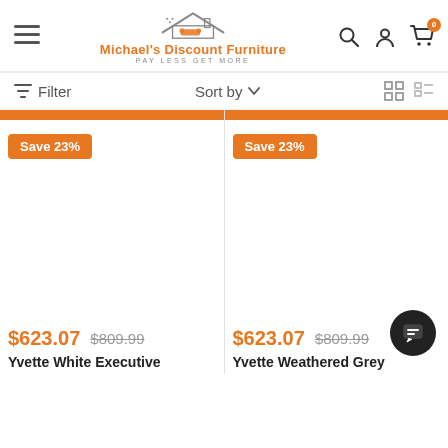[Figure (logo): Michael's Discount Furniture logo with house icon, orange text, and tagline PAY LESS GET MORE]
Filter   Sort by   ▾
Save 23%
Save 23%
$623.07  $809.99
$623.07  $809.99
Yvette White Executive
Yvette Weathered Grey